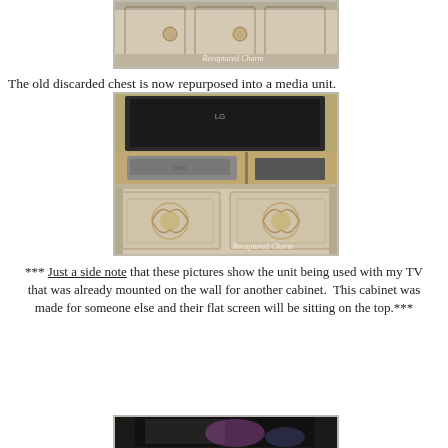[Figure (photo): Close-up detail photo of painted furniture with ornate hardware, watermarked 'Recaptured Charm']
The old discarded chest is now repurposed into a media unit.
[Figure (photo): Photo of repurposed chest converted into a media unit with TV on top and decorative carved panels, watermarked 'Recaptured Charm']
*** Just a side note that these pictures show the unit being used with my TV that was already mounted on the wall for another cabinet.  This cabinet was made for someone else and their flat screen will be sitting on the top.***
[Figure (photo): Partial photo of media unit with TV screen visible at top, cropped at bottom of page]